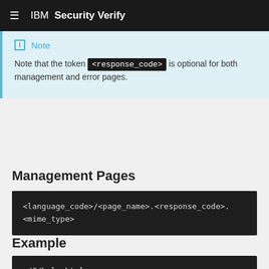IBM Security Verify
Note
Note that the token <response_code> is optional for both management and error pages.
Management Pages
<language_code>/<page_name>.<response_code>.<mime_type>
Example
./C/help.html
./C/login_success.html
./C/logout.html
./C/oidc_fragment.html